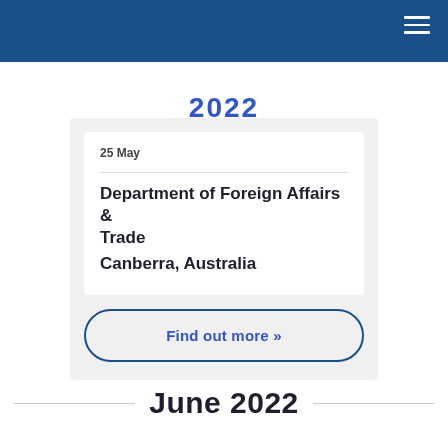2022
25 May
Department of Foreign Affairs & Trade
Canberra, Australia
Find out more »
June 2022